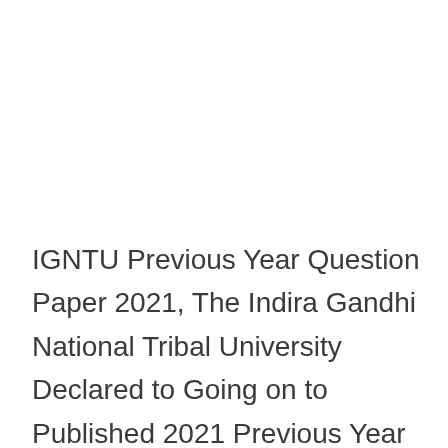IGNTU Previous Year Question Paper 2021, The Indira Gandhi National Tribal University Declared to Going on to Published 2021 Previous Year Question Paper for Semester Examination IGNTU Examination Prepared Students can Download B.Com, B.A., B.Ed, M.A., M.Sc, M.Com, M.Com, B.Ed, B.B.A,